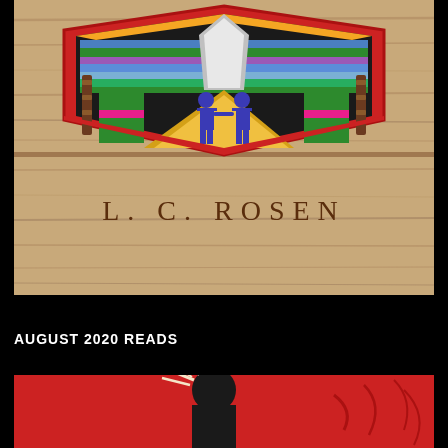[Figure (illustration): Book cover showing a colorful beaded/embroidered shield-shaped patch with two blue human figures holding hands, set against a wooden background. Author name 'L. C. ROSEN' appears engraved on the wood below the patch.]
AUGUST 2020 READS
[Figure (illustration): Partial book cover with red background showing a dark figure with light-colored hair, appears to be a dramatic illustrated style.]